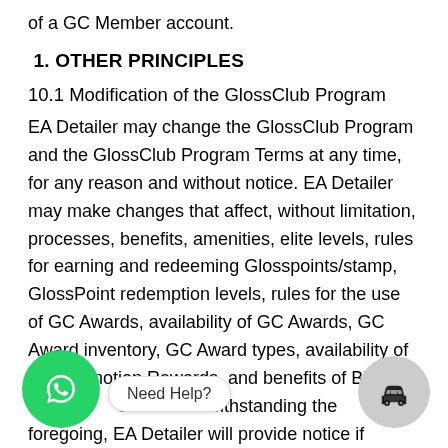of a GC Member account.
1. OTHER PRINCIPLES
10.1 Modification of the GlossClub Program
EA Detailer may change the GlossClub Program and the GlossClub Program Terms at any time, for any reason and without notice. EA Detailer may make changes that affect, without limitation, processes, benefits, amenities, elite levels, rules for earning and redeeming Glosspoints/stamp, GlossPoint redemption levels, rules for the use of GC Awards, availability of GC Awards, GC Award inventory, GC Award types, availability of GC Promotion Rewards, and benefits of Black In' Status. Notwithstanding the foregoing, EA Detailer will provide notice if changes to the GlossClub Program or the